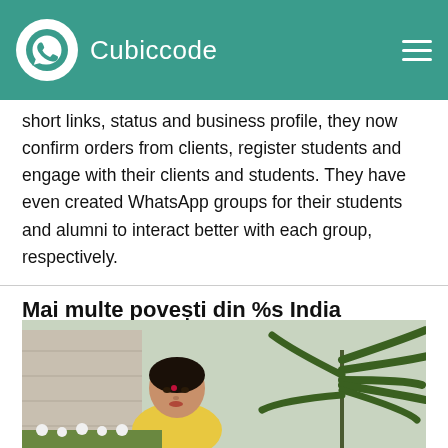Cubiccode
short links, status and business profile, they now confirm orders from clients, register students and engage with their clients and students. They have even created WhatsApp groups for their students and alumni to interact better with each group, respectively.
Mai multe povești din %s India
[Figure (photo): Portrait photo of an Indian woman with a bindi, seated outdoors near tropical plants and stone architecture]